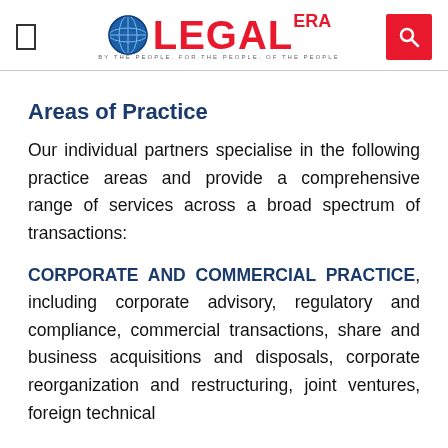Legal Era — By The People, For The People, Of The People
Areas of Practice
Our individual partners specialise in the following practice areas and provide a comprehensive range of services across a broad spectrum of transactions:
CORPORATE AND COMMERCIAL PRACTICE, including corporate advisory, regulatory and compliance, commercial transactions, share and business acquisitions and disposals, corporate reorganization and restructuring, joint ventures, foreign technical